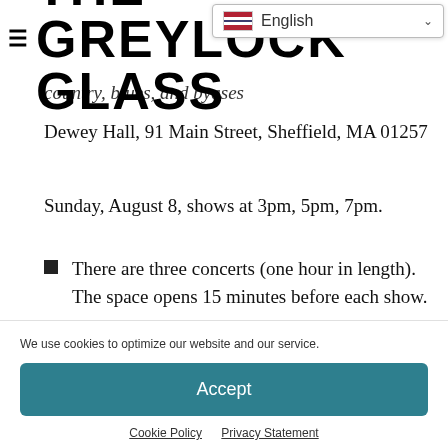≡ THE GREYLOCK GLASS
country, blues, and byases
Dewey Hall, 91 Main Street, Sheffield, MA 01257
Sunday, August 8, shows at 3pm, 5pm, 7pm.
There are three concerts (one hour in length). The space opens 15 minutes before each show.
Dewey Hall Back Yard, Dewey Hall, 91 Main Street, Sheffield, MA 01257 (indoors if it rains, more info
We use cookies to optimize our website and our service.
Accept
Cookie Policy   Privacy Statement